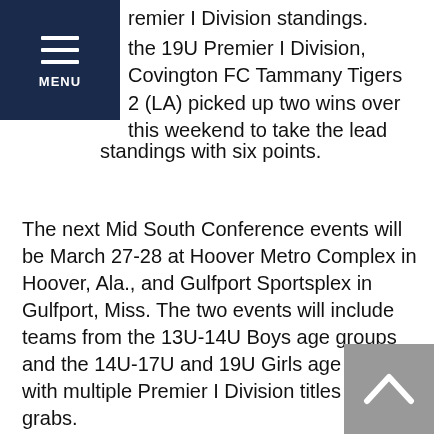MENU
remier I Division standings. the 19U Premier I Division, Covington FC Tammany Tigers 2 (LA) picked up two wins over this weekend to take the lead standings with six points.
The next Mid South Conference events will be March 27-28 at Hoover Metro Complex in Hoover, Ala., and Gulfport Sportsplex in Gulfport, Miss. The two events will include teams from the 13U-14U Boys age groups and the 14U-17U and 19U Girls age groups, with multiple Premier I Division titles up for grabs.
For more information on the Mid South Conference, including schedules, scores, and standings, click here.
For more information on all of the National League Conferences, the National League Showcase Series, and the National League Playoffs, click here.